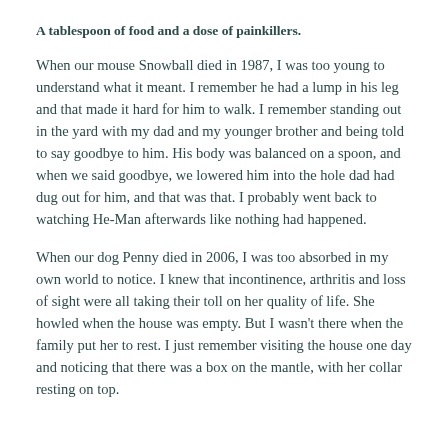A tablespoon of food and a dose of painkillers.
When our mouse Snowball died in 1987, I was too young to understand what it meant. I remember he had a lump in his leg and that made it hard for him to walk. I remember standing out in the yard with my dad and my younger brother and being told to say goodbye to him. His body was balanced on a spoon, and when we said goodbye, we lowered him into the hole dad had dug out for him, and that was that. I probably went back to watching He-Man afterwards like nothing had happened.
When our dog Penny died in 2006, I was too absorbed in my own world to notice. I knew that incontinence, arthritis and loss of sight were all taking their toll on her quality of life. She howled when the house was empty. But I wasn’t there when the family put her to rest. I just remember visiting the house one day and noticing that there was a box on the mantle, with her collar resting on top.